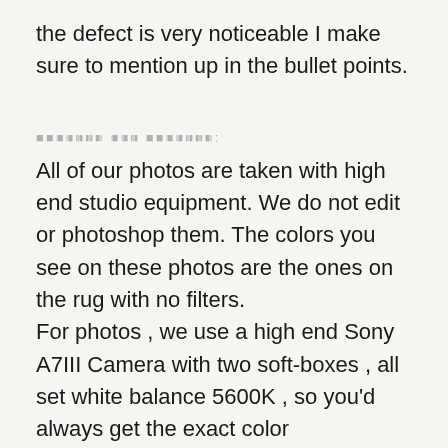the defect is very noticeable I make sure to mention up in the bullet points.
[redacted text redacted]:
All of our photos are taken with high end studio equipment. We do not edit or photoshop them. The colors you see on these photos are the ones on the rug with no filters.
For photos , we use a high end Sony A7III Camera with two soft-boxes , all set white balance 5600K , so you'd always get the exact color temperature.
To make the colors as accurate as possible , we have put a glass wall on one side of the studio , only taking photos at noon so we get perfect lighting from outside , making the end results exactly how it will look inside your home during daytime.